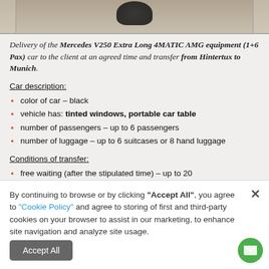[Figure (photo): Top portion of a Mercedes V250 Extra Long 4MATIC AMG car photographed from above against a light beige/sand surface, showing the roof and part of the hood.]
Delivery of the Mercedes V250 Extra Long 4MATIC AMG equipment (1+6 Pax) car to the client at an agreed time and transfer from Hintertux to Munich.
Car description:
color of car – black
vehicle has: tinted windows, portable car table
number of passengers – up to 6 passengers
number of luggage – up to 6 suitcases or 8 hand luggage
Conditions of transfer:
free waiting (after the stipulated time) – up to 20
By continuing to browse or by clicking "Accept All", you agree to "Cookie Policy" and agree to storing of first and third-party cookies on your browser to assist in our marketing, to enhance site navigation and analyze site usage.